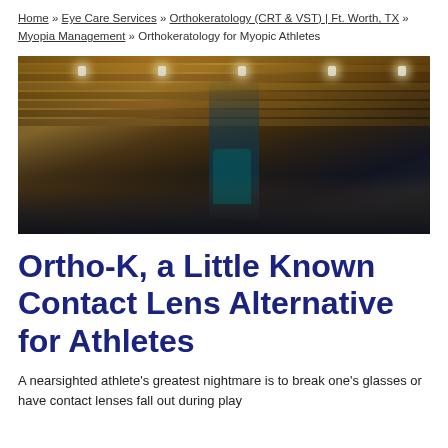Home » Eye Care Services » Orthokeratology (CRT & VST) | Ft. Worth, TX » Myopia Management » Orthokeratology for Myopic Athletes
[Figure (photo): A basketball player in a teal jersey reaching up with both arms overhead in an indoor gymnasium with a wooden slatted ceiling and visible ceiling lights. Other players and spectators are visible in the background.]
Ortho-K, a Little Known Contact Lens Alternative for Athletes
A nearsighted athlete's greatest nightmare is to break one's glasses or have contact lenses fall out during play